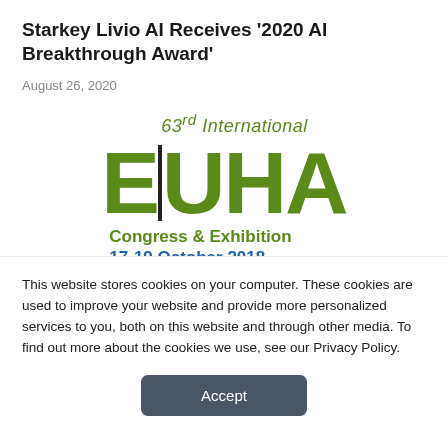Starkey Livio AI Receives ‘2020 AI Breakthrough Award’
August 26, 2020
[Figure (logo): EUHA logo: 63rd International E|UHA Congress & Exhibition 17-19 October 2018 Hannover Congress (partially visible)]
This website stores cookies on your computer. These cookies are used to improve your website and provide more personalized services to you, both on this website and through other media. To find out more about the cookies we use, see our Privacy Policy.
Accept